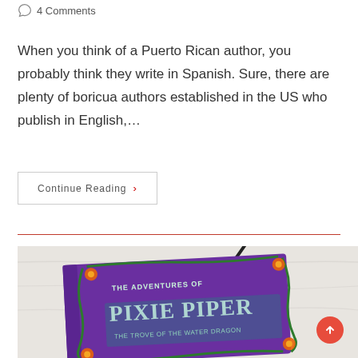4 Comments
When you think of a Puerto Rican author, you probably think they write in Spanish. Sure, there are plenty of boricua authors established in the US who publish in English,…
Continue Reading ›
[Figure (photo): A book titled 'The Adventures of Pixie Piper: The Trove of the Water Dragon' with a purple cover decorated with green vines and orange flowers, placed on a light marble surface with a pen resting on it.]